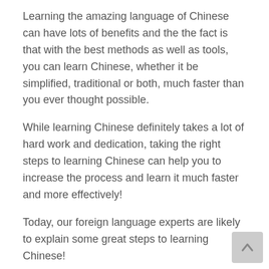Learning the amazing language of Chinese can have lots of benefits and the the fact is that with the best methods as well as tools, you can learn Chinese, whether it be simplified, traditional or both, much faster than you ever thought possible.
While learning Chinese definitely takes a lot of hard work and dedication, taking the right steps to learning Chinese can help you to increase the process and learn it much faster and more effectively!
Today, our foreign language experts are likely to explain some great steps to learning Chinese!
1.) Learning Calligraphy And Writing
Learning how to write Chinese characters is key because you hello in mandarin chinese order to be